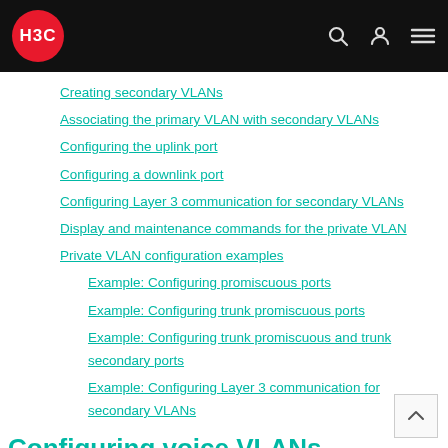H3C
Creating secondary VLANs
Associating the primary VLAN with secondary VLANs
Configuring the uplink port
Configuring a downlink port
Configuring Layer 3 communication for secondary VLANs
Display and maintenance commands for the private VLAN
Private VLAN configuration examples
Example: Configuring promiscuous ports
Example: Configuring trunk promiscuous ports
Example: Configuring trunk promiscuous and trunk secondary ports
Example: Configuring Layer 3 communication for secondary VLANs
Configuring voice VLANs
About voice VLANs
Working mechanism